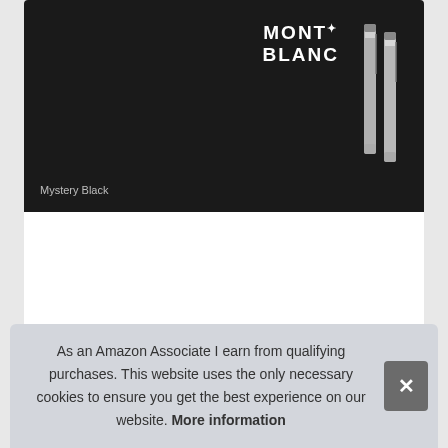[Figure (photo): Mont Blanc pen product image on dark background with two silver pen refills visible and Mont Blanc logo with star. Text 'Mystery Black' at bottom left.]
Top 5 Monte Blanc Pen UK – Retractable Ballpoint Pens
As an Amazon Associate I earn from qualifying purchases. This website uses the only necessary cookies to ensure you get the best experience on our website. More information